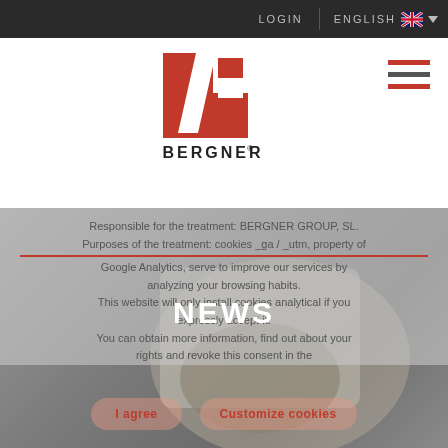LOGIN  ENGLISH
[Figure (logo): Bergner Group logo — red stylized letter B/F shape above the word BERGNER with registered trademark symbol]
Responsible for the treatment: BERGNER GROUP, SL. Purposes of the treatment: cookies _ga / _utm, property of Google Analytics, serve to improve our services by analyzing your browsing habits. This website will only install cookies analytical if you expressly accept it. You can obtain more information, find out about your rights and revoke this consent in the
NEWS
I agree   Customize cookies